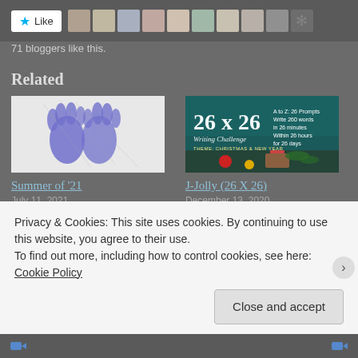[Figure (other): Like button with star icon and row of blogger avatar thumbnails]
71 bloggers like this.
Related
[Figure (illustration): Painted handprint artwork – blue and white handprints on white paper]
Summer of '21
July 11, 2021
In "Updates"
[Figure (other): 26 x 26 Writing Challenge banner – teal background with text and Christmas gifts]
J-Jolly (26 X 26)
December 13, 2020
In "Read"
Privacy & Cookies: This site uses cookies. By continuing to use this website, you agree to their use.
To find out more, including how to control cookies, see here: Cookie Policy
Close and accept